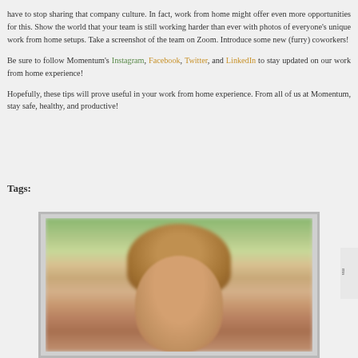have to stop sharing that company culture. In fact, work from home might offer even more opportunities for this. Show the world that your team is still working harder than ever with photos of everyone's unique work from home setups. Take a screenshot of the team on Zoom. Introduce some new (furry) coworkers!
Be sure to follow Momentum's Instagram, Facebook, Twitter, and LinkedIn to stay updated on our work from home experience!
Hopefully, these tips will prove useful in your work from home experience. From all of us at Momentum, stay safe, healthy, and productive!
Tags:
[Figure (photo): Portrait photo of a young woman with brown hair in an outdoor setting with trees and foliage in the background]